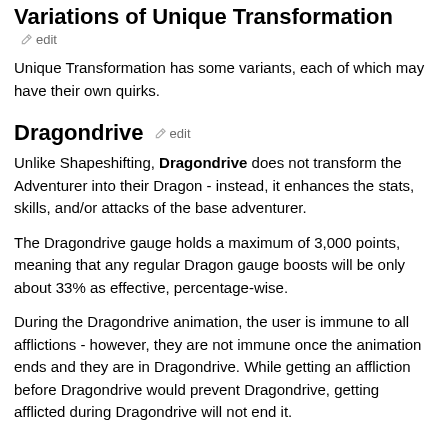Variations of Unique Transformation
edit
Unique Transformation has some variants, each of which may have their own quirks.
Dragondrive  edit
Unlike Shapeshifting, Dragondrive does not transform the Adventurer into their Dragon - instead, it enhances the stats, skills, and/or attacks of the base adventurer.
The Dragondrive gauge holds a maximum of 3,000 points, meaning that any regular Dragon gauge boosts will be only about 33% as effective, percentage-wise.
During the Dragondrive animation, the user is immune to all afflictions - however, they are not immune once the animation ends and they are in Dragondrive. While getting an affliction before Dragondrive would prevent Dragondrive, getting afflicted during Dragondrive will not end it.